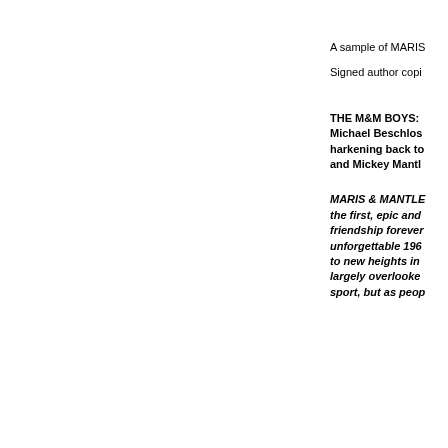A sample of MARIS
Signed author copi
THE M&M BOYS: Michael Beschlos harkening back to and Mickey Mantl
MARIS & MANTLE the first, epic and friendship forever unforgettable 196 to new heights in largely overlooke sport, but as peop